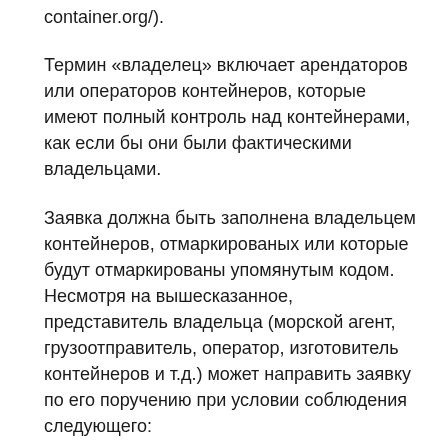container.org/).
Термин «владелец» включает арендаторов или операторов контейнеров, которые имеют полный контроль над контейнерами, как если бы они были фактическими владельцами.
Заявка должна быть заполнена владельцем контейнеров, отмаркированых или которые будут отмаркированы упомянутым кодом. Несмотря на вышесказанное, представитель владельца (морской агент, грузоотправитель, оператор, изготовитель контейнеров и т.д.) может направить заявку по его поручению при условии соблюдения следующего:
BIC и НРО оставляют за собой право проверять полномочия такого представителя.